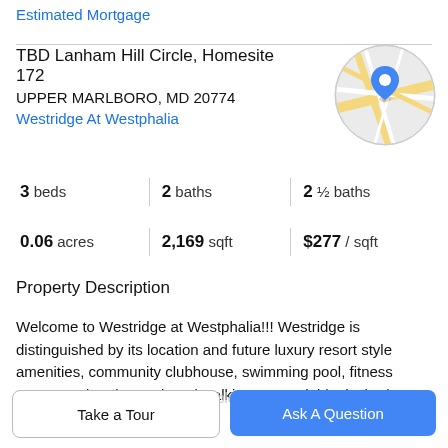Estimated Mortgage
TBD Lanham Hill Circle, Homesite 172
UPPER MARLBORO, MD 20774
Westridge At Westphalia
[Figure (map): Circular map thumbnail showing location pin on a street map for Upper Marlboro, MD area]
3 beds | 2 baths | 2 ½ baths
0.06 acres | 2,169 sqft | $277 / sqft
Property Description
Welcome to Westridge at Westphalia!!! Westridge is distinguished by its location and future luxury resort style amenities, community clubhouse, swimming pool, fitness center, tot lot, dog park and walking area! Highly desired
Harlow II floor plan is now available for sale. October 2023
Take a Tour
Ask A Question